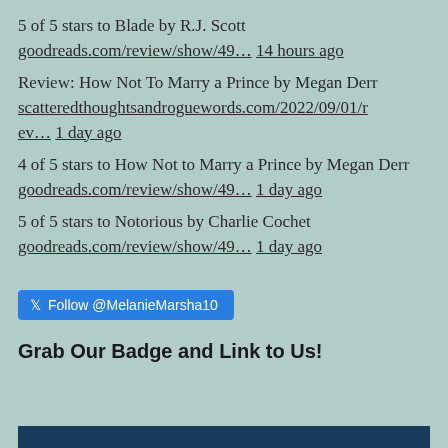5 of 5 stars to Blade by R.J. Scott goodreads.com/review/show/49… 14 hours ago
Review: How Not To Marry a Prince by Megan Derr scatteredthoughtsandroguewords.com/2022/09/01/rev… 1 day ago
4 of 5 stars to How Not to Marry a Prince by Megan Derr goodreads.com/review/show/49… 1 day ago
5 of 5 stars to Notorious by Charlie Cochet goodreads.com/review/show/49… 1 day ago
Follow @MelanieMarsha10
Grab Our Badge and Link to Us!